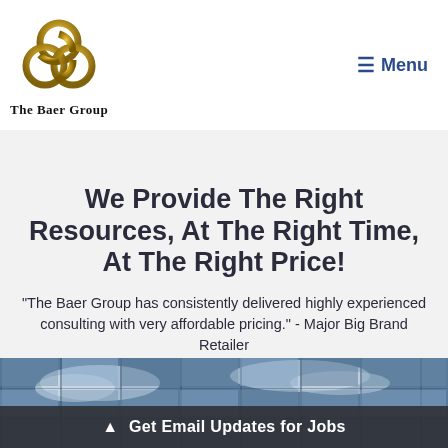[Figure (logo): The Baer Group logo: three interlocking gold rings with text 'The Baer Group' below]
≡ Menu
We Provide The Right Resources, At The Right Time, At The Right Price!
"The Baer Group has consistently delivered highly experienced consulting with very affordable pricing." - Major Big Brand Retailer
[Figure (photo): Photograph of a glass building facade reflecting sky and clouds]
▲ Get Email Updates for Jobs